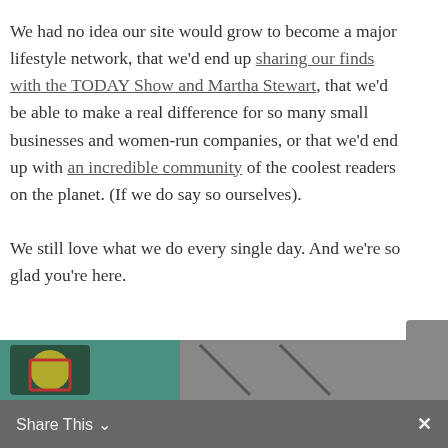We had no idea our site would grow to become a major lifestyle network, that we'd end up sharing our finds with the TODAY Show and Martha Stewart, that we'd be able to make a real difference for so many small businesses and women-run companies, or that we'd end up with an incredible community of the coolest readers on the planet. (If we do say so ourselves).
We still love what we do every single day. And we're so glad you're here.
[Figure (other): NEXT button with arrow, on Newz Online]
[Figure (screenshot): Bottom share bar with Share This text and close X button, with colorful image strip above]